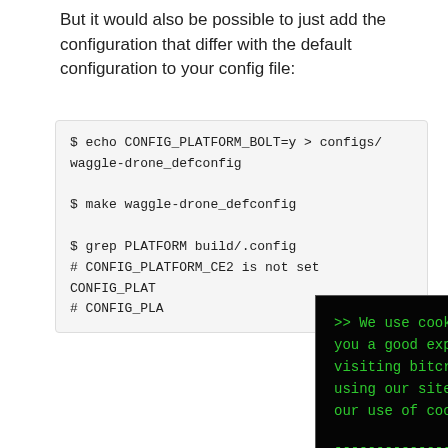But it would also be possible to just add the configuration that differ with the default configuration to your config file:
$ echo CONFIG_PLATFORM_BOLT=y > configs/waggle-drone_defconfig

$ make waggle-drone_defconfig

$ grep PLATFORM build/.config
# CONFIG_PLATFORM_CE2 is not set
CONFIG_PLAT...
# CONFIG_PLA...
[Figure (screenshot): Cookie consent overlay with dark background and green monospace text reading: '>> We use cookies to give you a good experience when visiting bitcraze.io. By using our site, you agree to our use of cookies' with an OK button styled as '| OK, got it! |' surrounded by dashes]
Help ou please!
This is quite a big... bugs. Please give it a test run and report any issues you